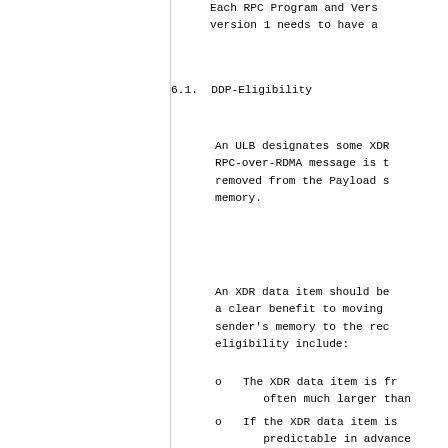Each RPC Program and Vers version 1 needs to have a
6.1.  DDP-Eligibility
An ULB designates some XDR RPC-over-RDMA message is t removed from the Payload s memory.
An XDR data item should be a clear benefit to moving sender's memory to the rec eligibility include:
o   The XDR data item is fr often much larger than
o   If the XDR data item is predictable in advance